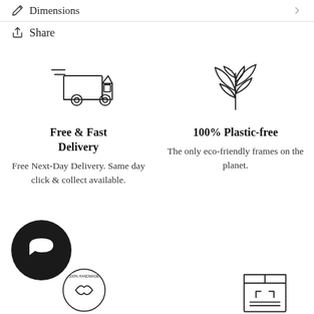Dimensions
Share
[Figure (illustration): Delivery truck icon]
Free & Fast Delivery
Free Next-Day Delivery. Same day click & collect available.
[Figure (illustration): Plant/leaves eco icon]
100% Plastic-free
The only eco-friendly frames on the planet.
[Figure (illustration): Chat bubble icon (dark circle)]
[Figure (illustration): 100% Handmade badge]
[Figure (illustration): Shipping box icon]